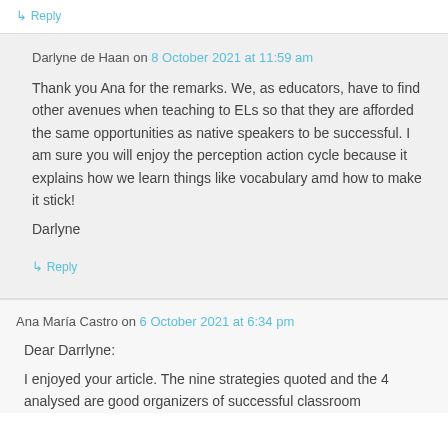↳ Reply
Darlyne de Haan on 8 October 2021 at 11:59 am
Thank you Ana for the remarks. We, as educators, have to find other avenues when teaching to ELs so that they are afforded the same opportunities as native speakers to be successful. I am sure you will enjoy the perception action cycle because it explains how we learn things like vocabulary amd how to make it stick!
Darlyne
↳ Reply
Ana María Castro on 6 October 2021 at 6:34 pm
Dear Darrlyne:
I enjoyed your article. The nine strategies quoted and the 4 analysed are good organizers of successful classroom